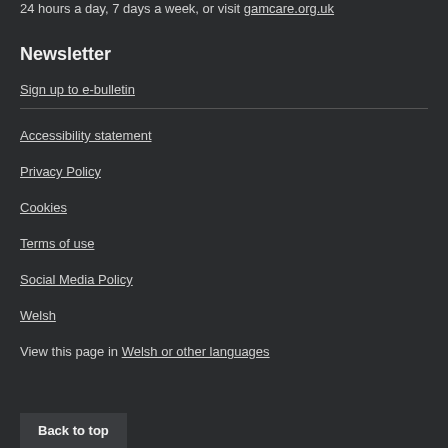24 hours a day, 7 days a week, or visit gamcare.org.uk
Newsletter
Sign up to e-bulletin
Accessibility statement
Privacy Policy
Cookies
Terms of use
Social Media Policy
Welsh
View this page in Welsh or other languages
Back to top